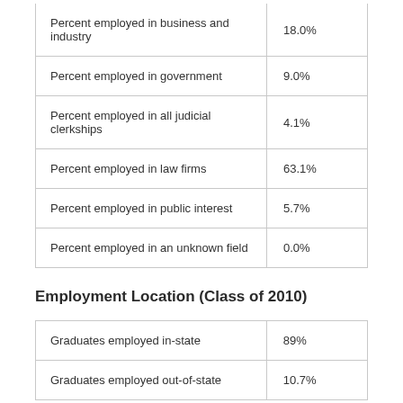|  |  |
| --- | --- |
| Percent employed in business and industry | 18.0% |
| Percent employed in government | 9.0% |
| Percent employed in all judicial clerkships | 4.1% |
| Percent employed in law firms | 63.1% |
| Percent employed in public interest | 5.7% |
| Percent employed in an unknown field | 0.0% |
Employment Location (Class of 2010)
|  |  |
| --- | --- |
| Graduates employed in-state | 89% |
| Graduates employed out-of-state | 10.7% |